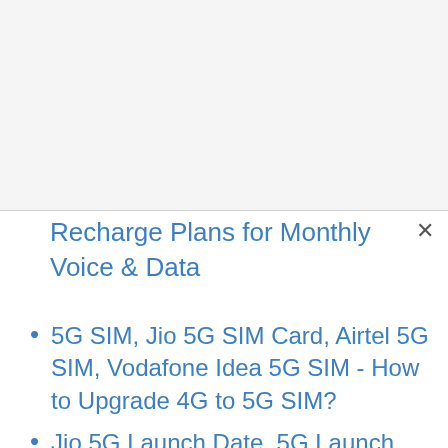Recharge Plans for Monthly Voice & Data
5G SIM, Jio 5G SIM Card, Airtel 5G SIM, Vodafone Idea 5G SIM - How to Upgrade 4G to 5G SIM?
Jio 5G Launch Date, 5G Launch date India Airtel & Vodafone Idea 5g Launch Date